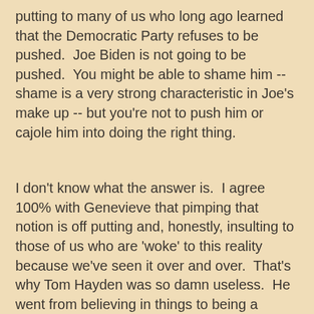putting to many of us who long ago learned that the Democratic Party refuses to be pushed.  Joe Biden is not going to be pushed.  You might be able to shame him -- shame is a very strong characteristic in Joe's make up -- but you're not to push him or cajole him into doing the right thing.
I don't know what the answer is.  I agree 100% with Genevieve that pimping that notion is off putting and, honestly, insulting to those of us who are 'woke' to this reality because we've seen it over and over.  That's why Tom Hayden was so damn useless.  He went from believing in things to being a whore.  Even when Barack Obama was insulting him by name in the primaries "Tom Hayden Democrats," Tom was still such a whore and such a weakling that he was out there telling people to vote for Barack.  He should have been telling them to vote for basically anyone else.  Bill because of his promise on the Iraq War, for example,